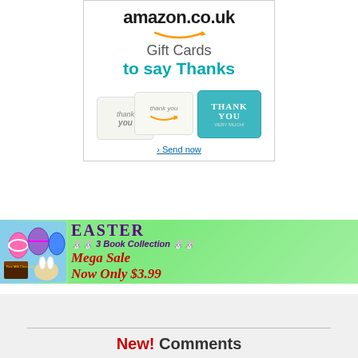[Figure (screenshot): Amazon.co.uk Gift Cards to say Thanks advertisement with three thank-you gift cards and a 'Send now' link]
[Figure (infographic): Easter Mega Sale banner: 3 Book Collection, Now Only $3.99, with Easter egg imagery and bunny decorations on green background]
New! Comments